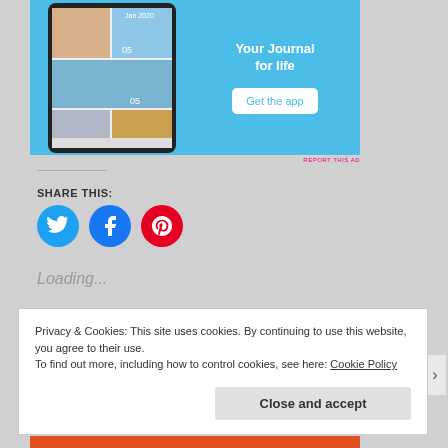[Figure (screenshot): App advertisement banner with blue background showing journal app screenshots on the left, 'Your Journal for life' text and 'Get the app' button on the right]
REPORT THIS AD
SHARE THIS:
[Figure (infographic): Three social media share buttons: Twitter (blue), Facebook (blue), Pinterest (red)]
Loading...
Privacy & Cookies: This site uses cookies. By continuing to use this website, you agree to their use.
To find out more, including how to control cookies, see here: Cookie Policy